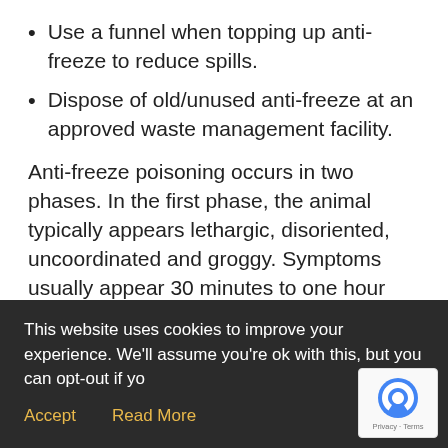Use a funnel when topping up anti-freeze to reduce spills.
Dispose of old/unused anti-freeze at an approved waste management facility.
Anti-freeze poisoning occurs in two phases. In the first phase, the animal typically appears lethargic, disoriented, uncoordinated and groggy. Symptoms usually appear 30 minutes to one hour after ingestion and can last for several hours.
The second phase, which can last up to three
This website uses cookies to improve your experience. We'll assume you're ok with this, but you can opt-out if yo